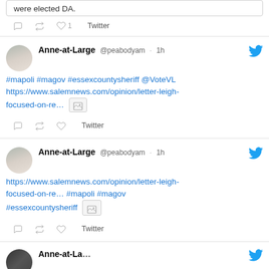were elected DA.
Twitter actions: reply, retweet, like 1
Anne-at-Large @peabodyam · 1h
#mapoli #magov #essexcountysheriff @VoteVL https://www.salemnews.com/opinion/letter-leigh-focused-on-re... [image]
Twitter actions: reply, retweet, like
Anne-at-Large @peabodyam · 1h
https://www.salemnews.com/opinion/letter-leigh-focused-on-re... #mapoli #magov #essexcountysheriff [image]
Twitter actions: reply, retweet, like
Anne-at-Large (partial)